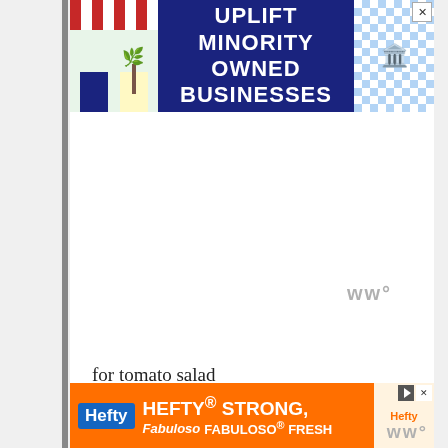[Figure (screenshot): Top advertisement banner: 'UPLIFT MINORITY OWNED BUSINESSES' on dark blue background with storefront illustration]
ww°
for tomato salad
1 cup cherry tomatoes, sliced in half
1 small red jalepeno, very thinly sliced
2 green onions, thinly sliced
1/2 tsp maple syrup
1/4 tsp sea salt
few grinds of black pepper
[Figure (screenshot): Bottom advertisement banner: Hefty/Fabuloso 'HEFTY STRONG, FABULOSO FRESH' on orange background]